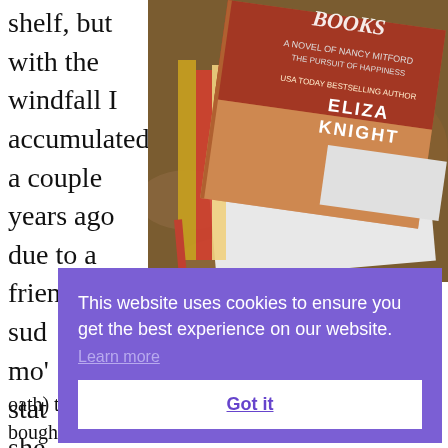shelf, but with the windfall I accumulated a couple years ago due to a friend's sud mo' stat she leav one oath) that I would read the books I had before I bought
[Figure (photo): A stack of books on a patterned carpet/rug. The top book is 'The Secret Bookshop' by Eliza Knight, a novel, with a decorative cover showing a warm gradient. Other books are visible underneath. The image is photographed from above at an angle.]
[Figure (screenshot): A cookie consent banner overlay with purple background. Text reads: 'This website uses cookies to ensure you get the best experience on our website.' with a 'Learn more' link and a white 'Got it' button.]